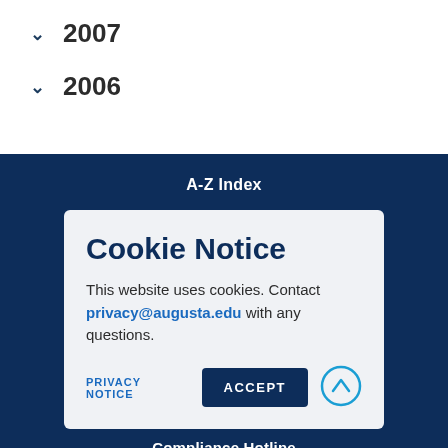2007
2006
A-Z Index
Cookie Notice
This website uses cookies. Contact privacy@augusta.edu with any questions.
PRIVACY NOTICE
ACCEPT
Compliance Hotline